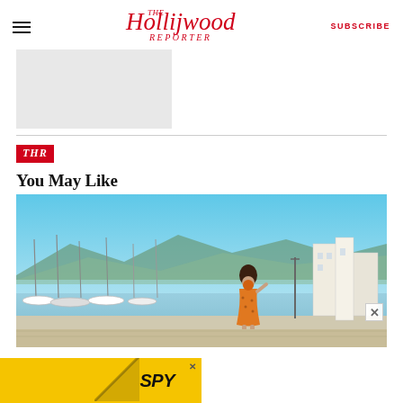The Hollywood Reporter | SUBSCRIBE
[Figure (other): Gray advertisement placeholder box]
[Figure (logo): THR red badge logo]
You May Like
[Figure (photo): Woman in orange floral dress standing on a marina boardwalk with boats and buildings in background, sunny blue sky]
[Figure (other): Bottom advertisement: BOGO BLINK MINIS GET YOURS NOW with SPY logo on yellow background]